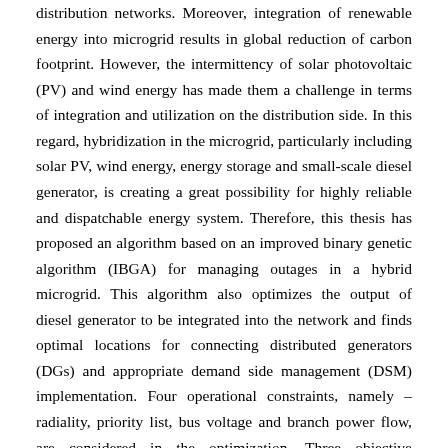distribution networks. Moreover, integration of renewable energy into microgrid results in global reduction of carbon footprint. However, the intermittency of solar photovoltaic (PV) and wind energy has made them a challenge in terms of integration and utilization on the distribution side. In this regard, hybridization in the microgrid, particularly including solar PV, wind energy, energy storage and small-scale diesel generator, is creating a great possibility for highly reliable and dispatchable energy system. Therefore, this thesis has proposed an algorithm based on an improved binary genetic algorithm (IBGA) for managing outages in a hybrid microgrid. This algorithm also optimizes the output of diesel generator to be integrated into the network and finds optimal locations for connecting distributed generators (DGs) and appropriate demand side management (DSM) implementation. Four operational constraints, namely – radiality, priority list, bus voltage and branch power flow, are considered in the optimization. Three objective functions, energy not supplied (ENS), system average interruption frequency index (SAIFI), and system average interruption duration index (SAIDI), are converted to a single objective function format as a minimization problem. In order to maintain practicality, DGs and loads are modeled stochastically and